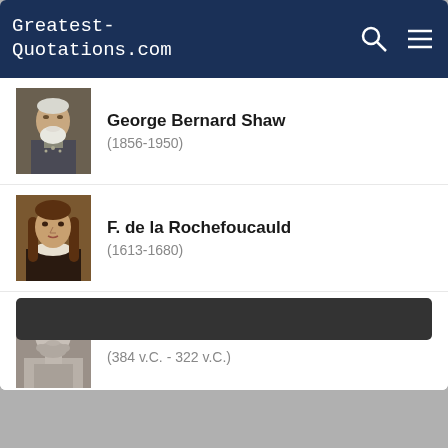Greatest-Quotations.com
George Bernard Shaw (1856-1950)
F. de la Rochefoucauld (1613-1680)
Aristotle (384 v.C. - 322 v.C.)
All authors
Popular authors